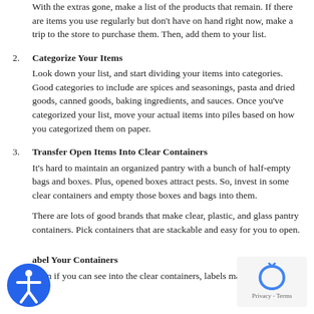With the extras gone, make a list of the products that remain. If there are items you use regularly but don't have on hand right now, make a trip to the store to purchase them. Then, add them to your list.
2. Categorize Your Items
Look down your list, and start dividing your items into categories. Good categories to include are spices and seasonings, pasta and dried goods, canned goods, baking ingredients, and sauces. Once you've categorized your list, move your actual items into piles based on how you categorized them on paper.
3. Transfer Open Items Into Clear Containers
It's hard to maintain an organized pantry with a bunch of half-empty bags and boxes. Plus, opened boxes attract pests. So, invest in some clear containers and empty those boxes and bags into them.

There are lots of good brands that make clear, plastic, and glass pantry containers. Pick containers that are stackable and easy for you to open.
4. Label Your Containers
Even if you can see into the clear containers, labels make things...